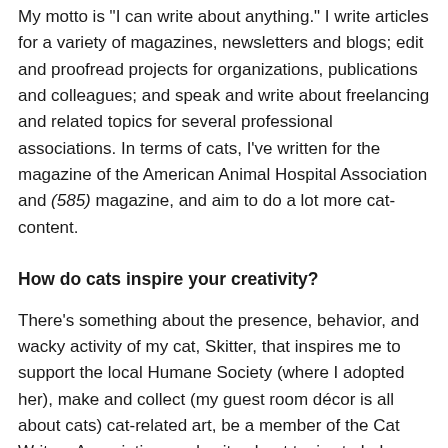My motto is 'I can write about anything.' I write articles for a variety of magazines, newsletters and blogs; edit and proofread projects for organizations, publications and colleagues; and speak and write about freelancing and related topics for several professional associations. In terms of cats, I've written for the magazine of the American Animal Hospital Association and (585) magazine, and aim to do a lot more cat-content.
How do cats inspire your creativity?
There's something about the presence, behavior, and wacky activity of my cat, Skitter, that inspires me to support the local Humane Society (where I adopted her), make and collect (my guest room décor is all about cats) cat-related art, be a member of the Cat Writers Association, and write about topics to help people be more aware of how to care for and appreciate cats.